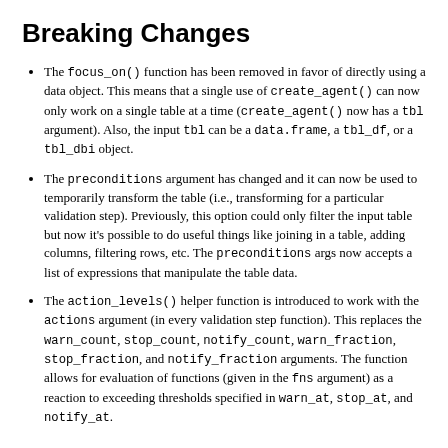Breaking Changes
The focus_on() function has been removed in favor of directly using a data object. This means that a single use of create_agent() can now only work on a single table at a time (create_agent() now has a tbl argument). Also, the input tbl can be a data.frame, a tbl_df, or a tbl_dbi object.
The preconditions argument has changed and it can now be used to temporarily transform the table (i.e., transforming for a particular validation step). Previously, this option could only filter the input table but now it's possible to do useful things like joining in a table, adding columns, filtering rows, etc. The preconditions args now accepts a list of expressions that manipulate the table data.
The action_levels() helper function is introduced to work with the actions argument (in every validation step function). This replaces the warn_count, stop_count, notify_count, warn_fraction, stop_fraction, and notify_fraction arguments. The function allows for evaluation of functions (given in the fns argument) as a reaction to exceeding thresholds specified in warn_at, stop_at, and notify_at.